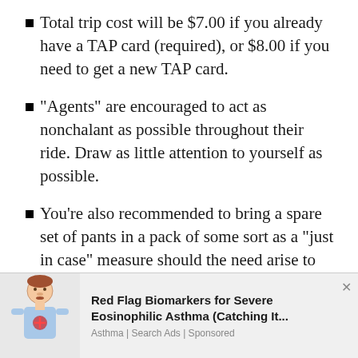Total trip cost will be $7.00 if you already have a TAP card (required), or $8.00 if you need to get a new TAP card.
“Agents” are encouraged to act as nonchalant as possible throughout their ride. Draw as little attention to yourself as possible.
You’re also recommended to bring a spare set of pants in a pack of some sort as a “just in case” measure should the need arise to re-pant.
[Figure (illustration): Advertisement showing a cartoon illustration of a person with red markings on their chest, alongside text for 'Red Flag Biomarkers for Severe Eosinophilic Asthma (Catching It...' by Asthma | Search Ads | Sponsored]